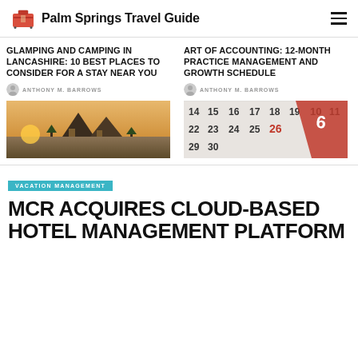Palm Springs Travel Guide
GLAMPING AND CAMPING IN LANCASHIRE: 10 BEST PLACES TO CONSIDER FOR A STAY NEAR YOU
ANTHONY M. BARROWS
[Figure (photo): A-frame cabin style glamping tents in a field at golden hour]
ART OF ACCOUNTING: 12-MONTH PRACTICE MANAGEMENT AND GROWTH SCHEDULE
ANTHONY M. BARROWS
[Figure (photo): Close-up of a calendar showing dates 14-30 with a red diagonal band]
VACATION MANAGEMENT
MCR ACQUIRES CLOUD-BASED HOTEL MANAGEMENT PLATFORM